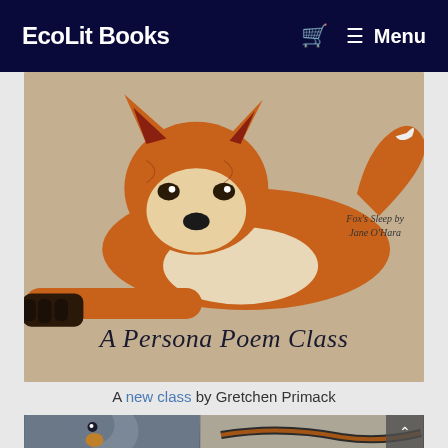EcoLit Books   🛒   ≡ Menu
[Figure (illustration): Book cover image showing a red fox stretched out with paws forward on a beige/tan background. Text on the image reads 'Fox's Sleep by Jane O'Hara' in the upper right and 'A Persona Poem Class' in large serif italic text at the bottom center.]
A new class by Gretchen Primack
[Figure (photo): Partial view of two photos: left shows a close-up of a squirrel with a nut in its mouth, right shows what appears to be a snake or reptile on sandy/rocky ground with orange markings. A scroll-up arrow button is visible on the right side.]